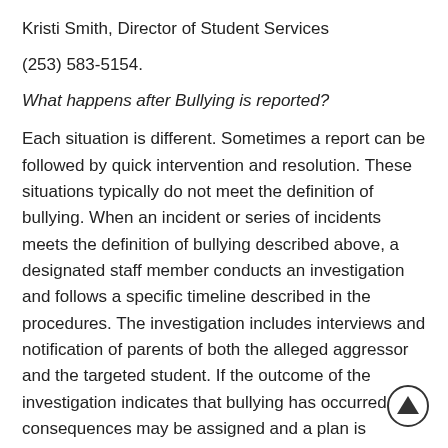Kristi Smith, Director of Student Services
(253) 583-5154.
What happens after Bullying is reported?
Each situation is different. Sometimes a report can be followed by quick intervention and resolution. These situations typically do not meet the definition of bullying. When an incident or series of incidents meets the definition of bullying described above, a designated staff member conducts an investigation and follows a specific timeline described in the procedures. The investigation includes interviews and notification of parents of both the alleged aggressor and the targeted student. If the outcome of the investigation indicates that bullying has occurred, consequences may be assigned and a plan is developed which includes a